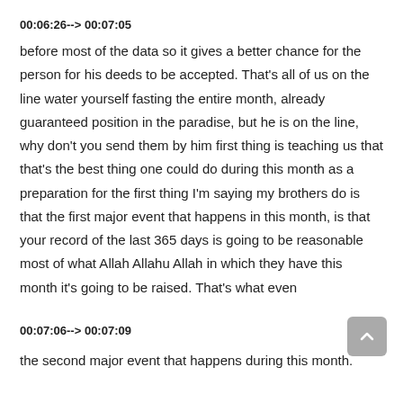00:06:26--> 00:07:05
before most of the data so it gives a better chance for the person for his deeds to be accepted. That's all of us on the line water yourself fasting the entire month, already guaranteed position in the paradise, but he is on the line, why don't you send them by him first thing is teaching us that that's the best thing one could do during this month as a preparation for the first thing I'm saying my brothers do is that the first major event that happens in this month, is that your record of the last 365 days is going to be reasonable most of what Allah Allahu Allah in which they have this month it's going to be raised. That's what even
00:07:06--> 00:07:09
the second major event that happens during this month.